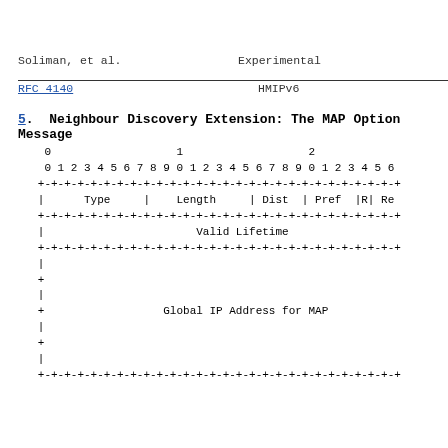Soliman, et al.                    Experimental
RFC 4140                           HMIPv6
5.  Neighbour Discovery Extension: The MAP Option Message
[Figure (schematic): Network packet format diagram showing bit fields: 0, 1, 2 row headers; bit positions 0-6+ across; rows: Type | Length | Dist | Pref |R| Re; Valid Lifetime; | (empty rows); Global IP Address for MAP; with +- border lines]